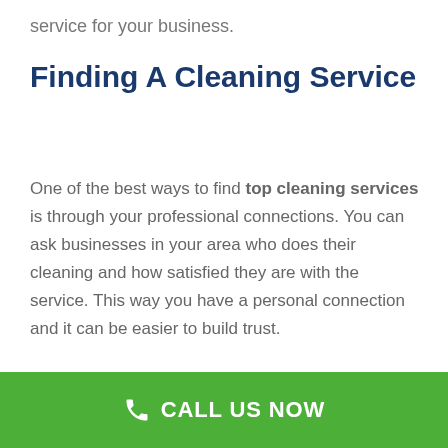service for your business.
Finding A Cleaning Service
One of the best ways to find top cleaning services is through your professional connections. You can ask businesses in your area who does their cleaning and how satisfied they are with the service. This way you have a personal connection and it can be easier to build trust.
CALL US NOW